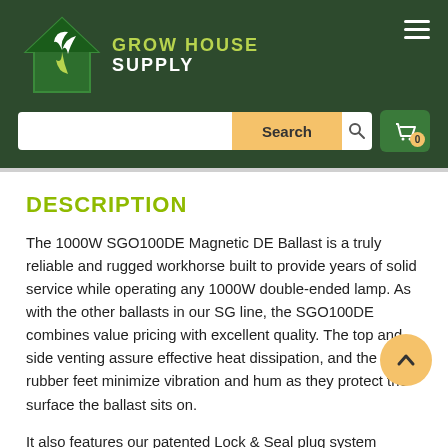[Figure (logo): Grow House Supply logo: green house icon with leaf/plant motif, white text 'GROW HOUSE' in olive/lime green and 'SUPPLY' in white]
GROW HOUSE SUPPLY — navigation header with search bar and cart icon
DESCRIPTION
The 1000W SGO100DE Magnetic DE Ballast is a truly reliable and rugged workhorse built to provide years of solid service while operating any 1000W double-ended lamp. As with the other ballasts in our SG line, the SGO100DE combines value pricing with excellent quality. The top and side venting assure effective heat dissipation, and the rubber feet minimize vibration and hum as they protect the surface the ballast sits on.
It also features our patented Lock & Seal plug system design, which allows electrical contact to happen only when a seal is achieved. The SGO100DE ballast offers a